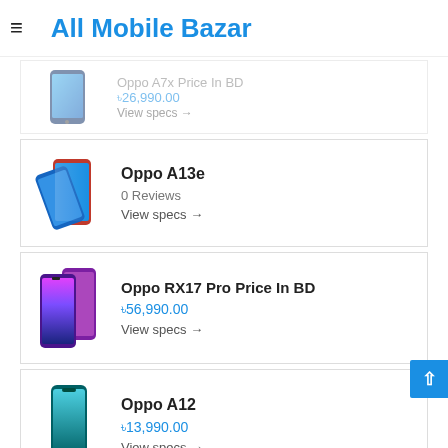All Mobile Bazar
[Figure (photo): Oppo A7x smartphone image (partial, faded)]
Oppo A7x Price In BD
৳26,990.00
View specs →
[Figure (photo): Oppo A13e smartphone image in red]
Oppo A13e
0 Reviews
View specs →
[Figure (photo): Oppo RX17 Pro smartphone image]
Oppo RX17 Pro Price In BD
৳56,990.00
View specs →
[Figure (photo): Oppo A12 smartphone image in teal]
Oppo A12
৳13,990.00
View specs →